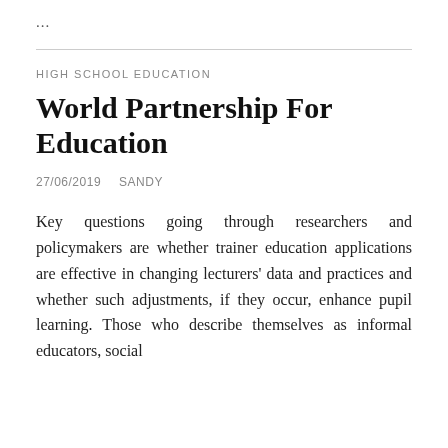...
HIGH SCHOOL EDUCATION
World Partnership For Education
27/06/2019   SANDY
Key questions going through researchers and policymakers are whether trainer education applications are effective in changing lecturers' data and practices and whether such adjustments, if they occur, enhance pupil learning. Those who describe themselves as informal educators, social